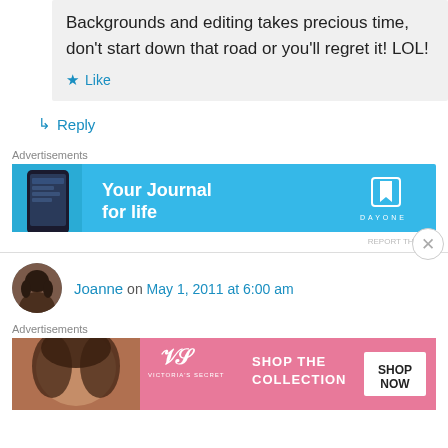Backgrounds and editing takes precious time, don't start down that road or you'll regret it! LOL!
★ Like
↳ Reply
Advertisements
[Figure (other): Day One app advertisement banner - blue background with phone graphic and text 'Your Journal for life' with Day One logo]
REPORT THIS AD
Joanne on May 1, 2011 at 6:00 am
Advertisements
[Figure (other): Victoria's Secret advertisement banner - pink background with model photo, VS logo, text 'SHOP THE COLLECTION' and 'SHOP NOW' button]